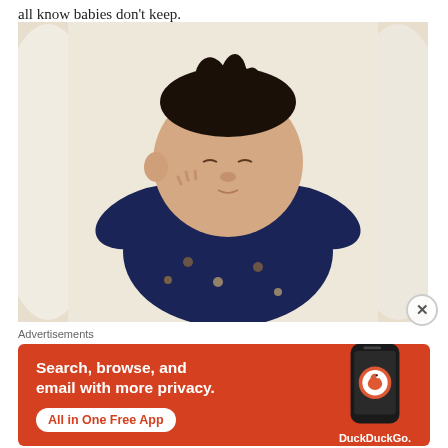all know babies don't keep.
[Figure (photo): A sleeping newborn baby with dark hair, wearing a navy blue onesie with dog/dachshund pattern, lying on a white surface with hands raised near face.]
Advertisements
[Figure (infographic): DuckDuckGo advertisement banner with orange background. Text: 'Search, browse, and email with more privacy. All in One Free App' with a phone mockup showing DuckDuckGo app and logo.]